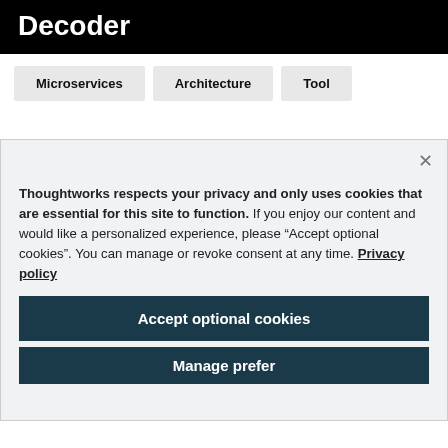Decoder
Microservices
Architecture
Tool
Thoughtworks respects your privacy and only uses cookies that are essential for this site to function. If you enjoy our content and would like a personalized experience, please “Accept optional cookies”. You can manage or revoke consent at any time. Privacy policy
Accept optional cookies
Manage prefer...